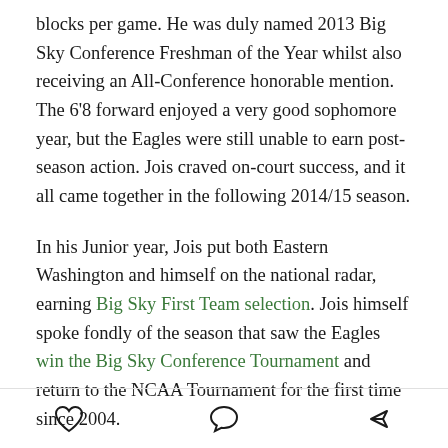blocks per game. He was duly named 2013 Big Sky Conference Freshman of the Year whilst also receiving an All-Conference honorable mention. The 6'8 forward enjoyed a very good sophomore year, but the Eagles were still unable to earn post-season action. Jois craved on-court success, and it all came together in the following 2014/15 season.
In his Junior year, Jois put both Eastern Washington and himself on the national radar, earning Big Sky First Team selection. Jois himself spoke fondly of the season that saw the Eagles win the Big Sky Conference Tournament and return to the NCAA Tournament for the first time since 2004.
[Figure (other): Footer toolbar with three icons: heart (like), speech bubble (comment), and share arrow]